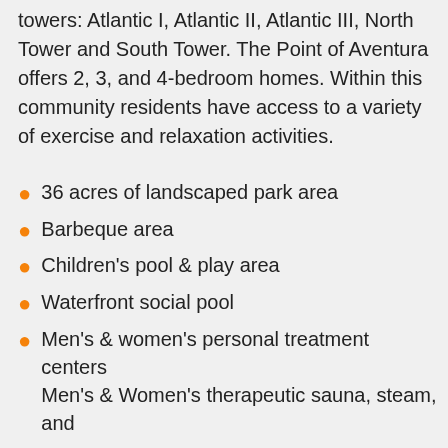towers: Atlantic I, Atlantic II, Atlantic III, North Tower and South Tower. The Point of Aventura offers 2, 3, and 4-bedroom homes. Within this community residents have access to a variety of exercise and relaxation activities.
36 acres of landscaped park area
Barbeque area
Children's pool & play area
Waterfront social pool
Men's & women's personal treatment centers Men's & Women's therapeutic sauna, steam, and
whirlpool facilities
Four lighted Har Tru tennis courts
The Point Place Café
Fully-equipped cardiovascular center
State-of-the-art weight training center